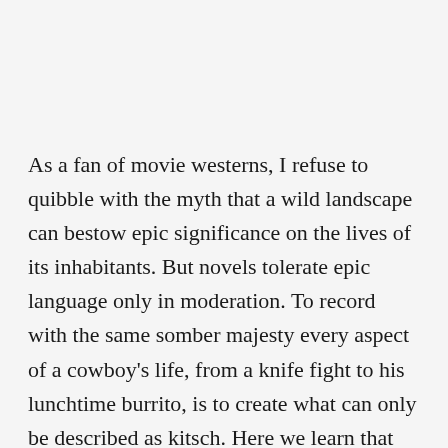As a fan of movie westerns, I refuse to quibble with the myth that a wild landscape can bestow epic significance on the lives of its inhabitants. But novels tolerate epic language only in moderation. To record with the same somber majesty every aspect of a cowboy's life, from a knife fight to his lunchtime burrito, is to create what can only be described as kitsch. Here we learn that out west even a hangover is something special.